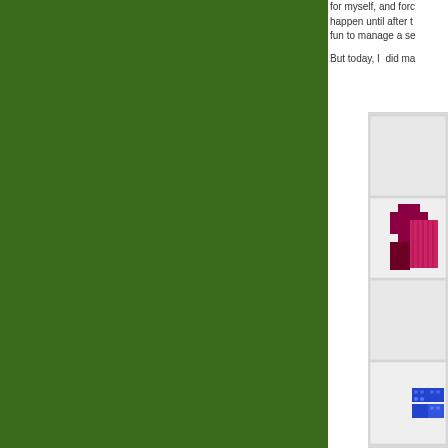[Figure (illustration): Large dark green rectangular block filling the left ~73% of the page]
for myself, and forc happen until after t fun to manage a se
But today, I  did ma
[Figure (photo): Photograph of a quilt laid out on a light gray surface, showing colorful quilt blocks including a dark red/magenta cross-shaped block in the upper portion and blue dotted/spotted blocks in the lower portion, on a white/light gray background]